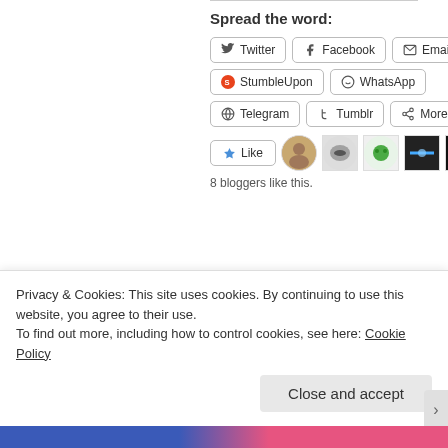Spread the word:
Twitter
Facebook
Email
StumbleUpon
WhatsApp
Telegram
Tumblr
More
Like  8 bloggers like this.
Versatile Blogger Award
January 28, 2016
Me? The Mystery Blogger Award
December 29, 2016
Privacy & Cookies: This site uses cookies. By continuing to use this website, you agree to their use.
To find out more, including how to control cookies, see here: Cookie Policy
Close and accept